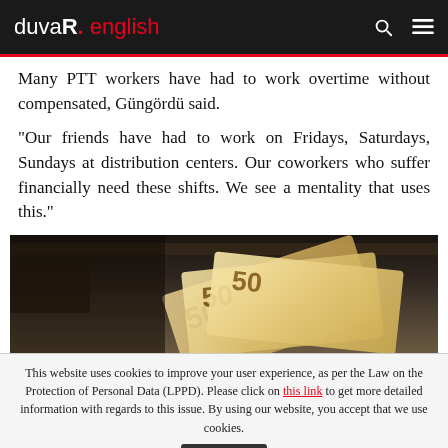duvaR. english
Many PTT workers have had to work overtime without compensated, Güngördü said.
“Our friends have had to work on Fridays, Saturdays, Sundays at distribution centers. Our coworkers who suffer financially need these shifts. We see a mentality that uses this.”
[Figure (photo): A hand holding fanned-out Turkish 50 lira banknotes against a dark background with shelves visible.]
This website uses cookies to improve your user experience, as per the Law on the Protection of Personal Data (LPPD). Please click on this link to get more detailed information with regards to this issue. By using our website, you accept that we use cookies.